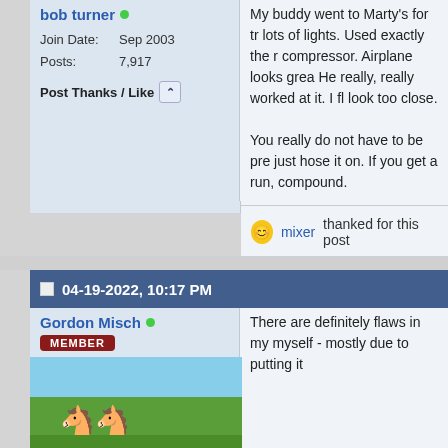bob turner
Join Date: Sep 2003
Posts: 7,917
Post Thanks / Like
My buddy went to Marty's for tra lots of lights. Used exactly the r compressor. Airplane looks grea He really, really worked at it. I fl look too close.

You really do not have to be pre just hose it on. If you get a run, compound.
mixer thanked for this post
04-19-2022, 10:17 PM
Gordon Misch
[Figure (photo): Outdoor scene with horses in a green field with trees in background]
There are definitely flaws in my myself - mostly due to putting it